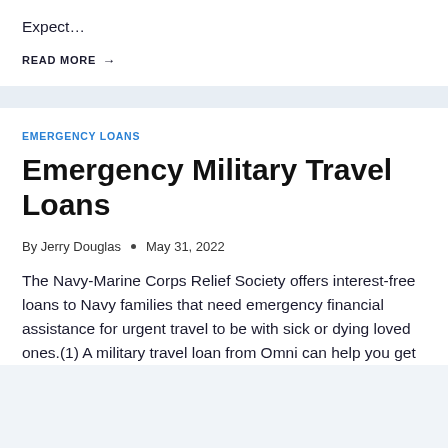Expect…
READ MORE →
EMERGENCY LOANS
Emergency Military Travel Loans
By Jerry Douglas  •  May 31, 2022
The Navy-Marine Corps Relief Society offers interest-free loans to Navy families that need emergency financial assistance for urgent travel to be with sick or dying loved ones.(1) A military travel loan from Omni can help you get…